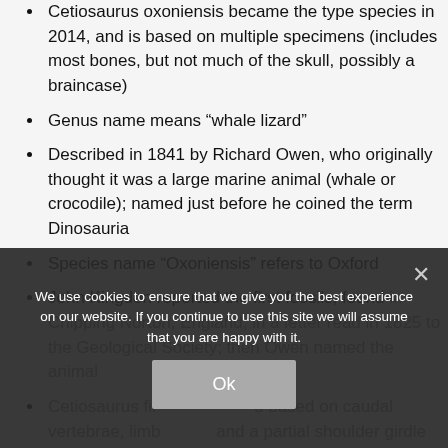Cetiosaurus oxoniensis became the type species in 2014, and is based on multiple specimens (includes most bones, but not much of the skull, possibly a braincase)
Genus name means “whale lizard”
Described in 1841 by Richard Owen, who originally thought it was a large marine animal (whale or crocodile); named just before he coined the term Dinosauria
Species name “Oxoniensis” refers to Oxford
John Kingdon reported the first fossils, found in Chipping Norton, England, in a letter read in 1825 to the Geological Society; then Owen named the animal
Cetiosaurus first described based on caudal vertebrae, limb bones and a partial shoulder girdle